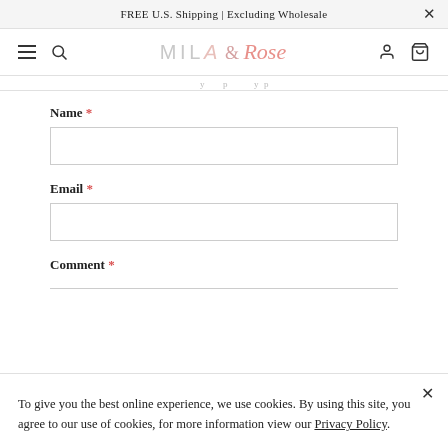FREE U.S. Shipping | Excluding Wholesale
[Figure (logo): Mila & Rose brand logo with navigation icons: hamburger menu, search, user account, and shopping bag]
[partial cut-off navigation text]
Name *
Email *
Comment *
To give you the best online experience, we use cookies. By using this site, you agree to our use of cookies, for more information view our Privacy Policy.